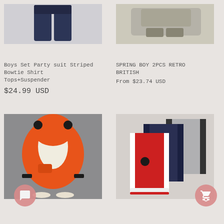[Figure (photo): Boys party suit striped product image - navy trousers folded]
[Figure (photo): Spring Boy 2PCS Retro British outfit - grey and beige set laid flat]
Boys Set Party suit Striped Bowtie Shirt Tops+Suspender
$24.99 USD
SPRING BOY 2PCS RETRO BRITISH
From $23.74 USD
[Figure (photo): Orange hooded bear ear fleece jacket for toddler on grey background]
[Figure (photo): Three varsity jackets in red, navy, and grey with bear patches]